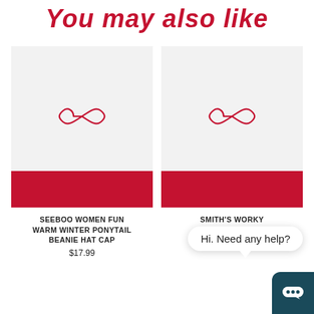You may also like
[Figure (photo): Product image placeholder for SEEBOO WOMEN FUN WARM WINTER PONYTAIL BEANIE HAT CAP with infinity logo icon and red bar at bottom]
SEEBOO WOMEN FUN WARM WINTER PONYTAIL BEANIE HAT CAP
$17.99
[Figure (photo): Product image placeholder for SMITH'S WORKY PULL-ON KNIT with infinity logo icon and red bar at bottom]
SMITH'S WORKY PULL-ON KNIT
$13.99